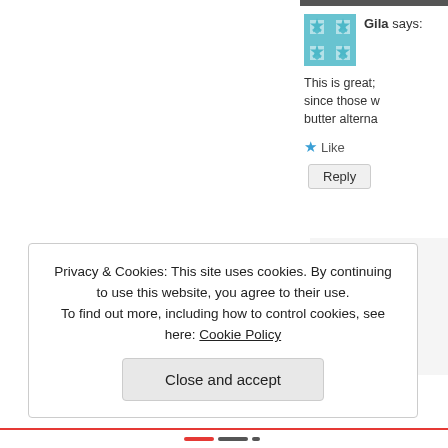[Figure (screenshot): Website comment section screenshot showing two user comments. First comment by 'Gila' with a geometric teal avatar, text starting 'This is great; since those w... butter alterna...', a Like button with blue star, and a Reply button. Second comment partially visible with 'NF' logo avatar, underlined author name starting 'nut', text starting 'Go', and partial Like/Reply UI. Below is a cookie consent banner reading 'Privacy & Cookies: This site uses cookies. By continuing to use this website, you agree to their use. To find out more, including how to control cookies, see here: Cookie Policy' with a 'Close and accept' button.]
Privacy & Cookies: This site uses cookies. By continuing to use this website, you agree to their use.
To find out more, including how to control cookies, see here: Cookie Policy
Close and accept